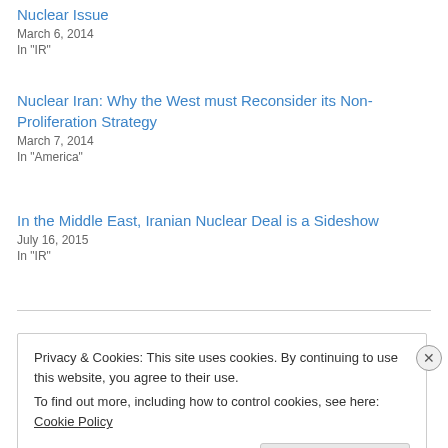Nuclear Issue
March 6, 2014
In "IR"
Nuclear Iran: Why the West must Reconsider its Non-Proliferation Strategy
March 7, 2014
In "America"
In the Middle East, Iranian Nuclear Deal is a Sideshow
July 16, 2015
In "IR"
Privacy & Cookies: This site uses cookies. By continuing to use this website, you agree to their use.
To find out more, including how to control cookies, see here: Cookie Policy
Close and accept